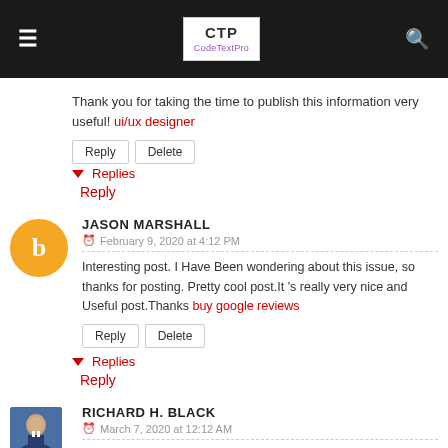CTP CodeTextPro
Thank you for taking the time to publish this information very useful! ui/ux designer
Reply | Delete
▼ Replies
Reply
JASON MARSHALL
February 9, 2020 at 4:12 PM
Interesting post. I Have Been wondering about this issue, so thanks for posting. Pretty cool post.It 's really very nice and Useful post.Thanks buy google reviews
Reply | Delete
▼ Replies
Reply
RICHARD H. BLACK
March 7, 2020 at 12:12 AM
Thank you because you have been willing to share information with us. we will always appreciate all you